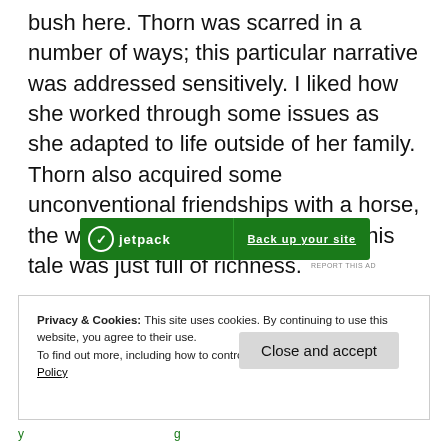bush here. Thorn was scarred in a number of ways; this particular narrative was addressed sensitively. I liked how she worked through some issues as she adapted to life outside of her family. Thorn also acquired some unconventional friendships with a horse, the wind, thieves and street kids. This tale was just full of richness.
[Figure (screenshot): Green Jetpack advertisement banner with logo on left and 'Back up your site' text on right]
REPORT THIS AD
Privacy & Cookies: This site uses cookies. By continuing to use this website, you agree to their use.
To find out more, including how to control cookies, see here: Cookie Policy
Close and accept